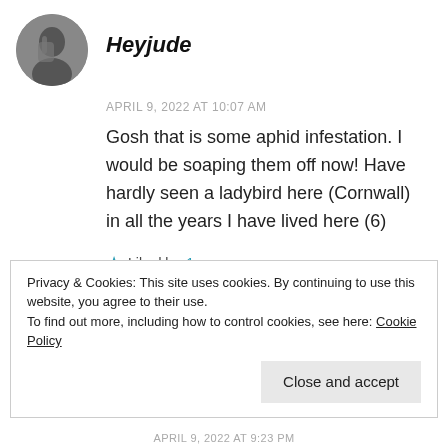[Figure (photo): Round avatar portrait photo of a person in black and white, face partially covered by hand]
Heyjude
APRIL 9, 2022 AT 10:07 AM
Gosh that is some aphid infestation. I would be soaping them off now! Have hardly seen a ladybird here (Cornwall) in all the years I have lived here (6)
★ Liked by 1 person
REPLY
Privacy & Cookies: This site uses cookies. By continuing to use this website, you agree to their use.
To find out more, including how to control cookies, see here: Cookie Policy
Close and accept
APRIL 9, 2022 AT 9:23 PM